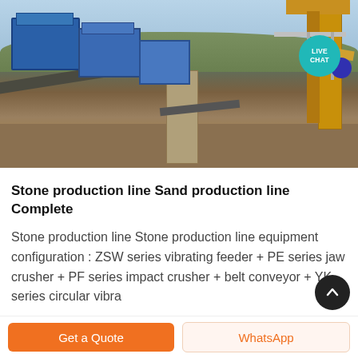[Figure (photo): Outdoor industrial stone/sand production line with blue crushing/screening machines, conveyor belts, a crane arm structure, and concrete pillars at a quarry site. A teal 'LIVE CHAT' bubble icon is overlaid in the upper right corner of the image.]
Stone production line Sand production line Complete
Stone production line Stone production line equipment configuration : ZSW series vibrating feeder + PE series jaw crusher + PF series impact crusher + belt conveyor + YK series circular vibra
Get a Quote
WhatsApp